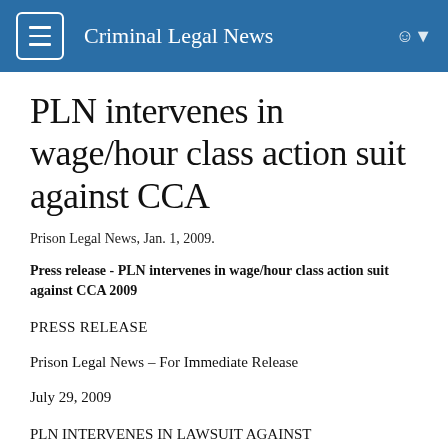Criminal Legal News
PLN intervenes in wage/hour class action suit against CCA
Prison Legal News, Jan. 1, 2009.
Press release - PLN intervenes in wage/hour class action suit against CCA 2009
PRESS RELEASE
Prison Legal News – For Immediate Release
July 29, 2009
PLN INTERVENES IN LAWSUIT AGAINST CORRECTIONS CORP. OF AMERICA TO UNSEAL CLASS ACTION WAGE/HOUR SETTLEMENT